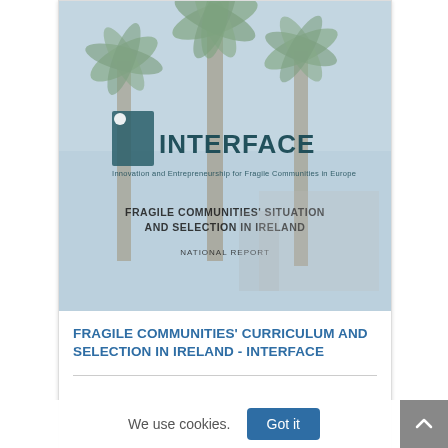[Figure (illustration): Cover image of the INTERFACE national report titled 'Fragile Communities Situation and Selection in Ireland - National Report'. Features palm trees against a light blue sky background with the INTERFACE logo and subtitle 'Innovation and Entrepreneurship for Fragile Communities in Europe'.]
FRAGILE COMMUNITIES' CURRICULUM AND SELECTION IN IRELAND - INTERFACE
We use cookies.